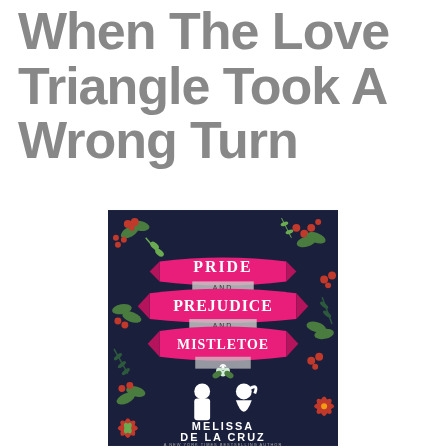When The Love Triangle Took A Wrong Turn
[Figure (illustration): Book cover of 'Pride and Prejudice and Mistletoe' by Melissa de la Cruz. Dark navy background with holiday botanical illustrations (holly, berries, poinsettias, mistletoe, pine branches). Three pink ribbon banners with white text reading PRIDE / AND / PREJUDICE / AND / MISTLETOE. Below the banners are two white silhouettes of a man and woman facing each other. Author name MELISSA DE LA CRUZ at the bottom.]